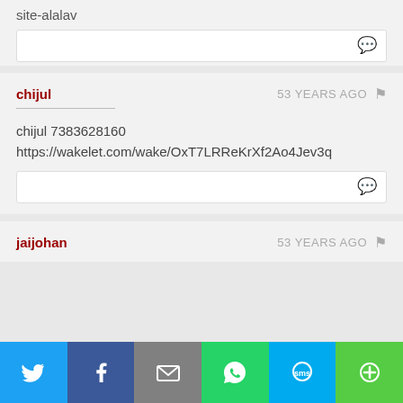site-alalav
chijul
53 YEARS AGO
chijul 7383628160
https://wakelet.com/wake/OxT7LRReKrXf2Ao4Jev3q
jaijohan
53 YEARS AGO